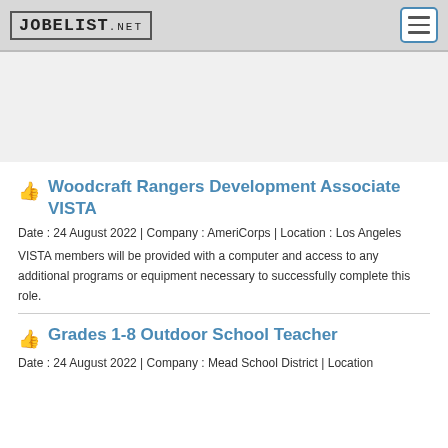JOBELIST.NET
Woodcraft Rangers Development Associate VISTA
Date : 24 August 2022 | Company : AmeriCorps | Location : Los Angeles
VISTA members will be provided with a computer and access to any additional programs or equipment necessary to successfully complete this role.
Grades 1-8 Outdoor School Teacher
Date : 24 August 2022 | Company : Mead School District | Location